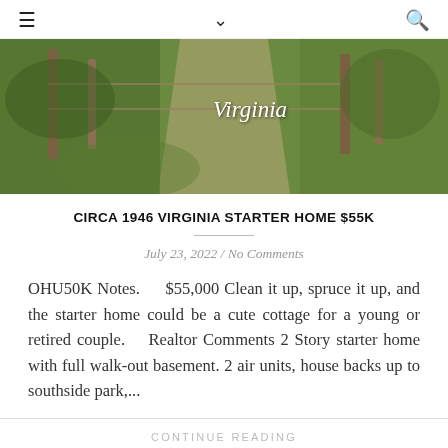≡  ∨  🔍
[Figure (photo): Outdoor garden path with wooden fence posts and lush green vegetation, with the word 'Virginia' overlaid in white italic text]
CIRCA 1946 VIRGINIA STARTER HOME $55K
July 23, 2022 / No Comments
OHU50K Notes.    $55,000 Clean it up, spruce it up, and the starter home could be a cute cottage for a young or retired couple.   Realtor Comments 2 Story starter home with full walk-out basement. 2 air units, house backs up to southside park,...
CONTINUE READING